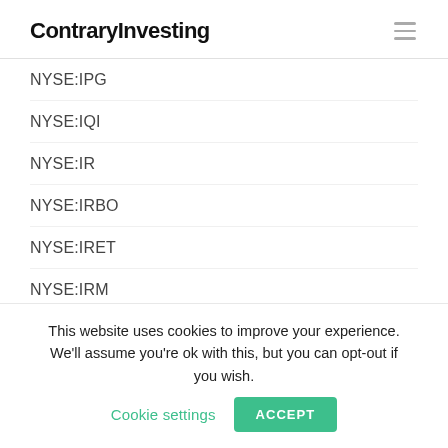ContraryInvesting
NYSE:IPG
NYSE:IQI
NYSE:IR
NYSE:IRBO
NYSE:IRET
NYSE:IRM
NYSE:IRR
NYSE:IRT
NYSE:ISD
This website uses cookies to improve your experience. We'll assume you're ok with this, but you can opt-out if you wish. Cookie settings ACCEPT